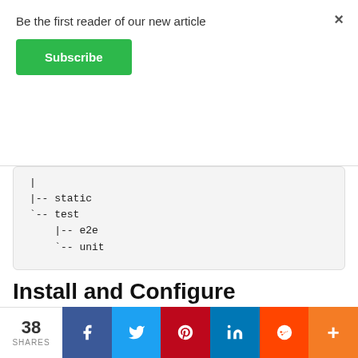Be the first reader of our new article
Subscribe
[Figure (screenshot): Code block showing directory tree: |-- static, `-- test, |-- e2e, `-- unit]
Install and Configure Mongoose.js
We need to access data from MongoDB. For that, we will install and configure Mongoose.js. On the terminal type this command after stopping the
38 SHARES | Facebook | Twitter | Pinterest | LinkedIn | Reddit | More